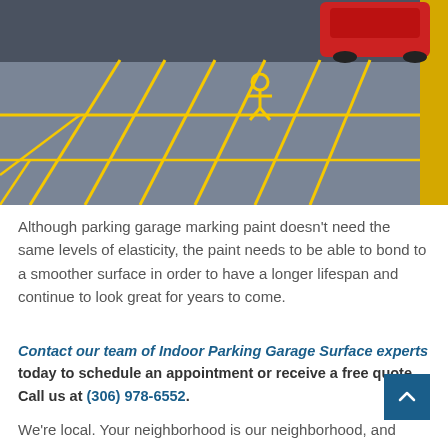[Figure (photo): Indoor parking garage with blue-grey epoxy floor coating and bright yellow parking space markings. A red car is parked in the upper portion. Yellow lines outline multiple parking stalls and a handicap space symbol is visible.]
Although parking garage marking paint doesn’t need the same levels of elasticity, the paint needs to be able to bond to a smoother surface in order to have a longer lifespan and continue to look great for years to come.
Contact our team of Indoor Parking Garage Surface experts today to schedule an appointment or receive a free quote. Call us at (306) 978-6552.
We’re local. Your neighborhood is our neighborhood, and